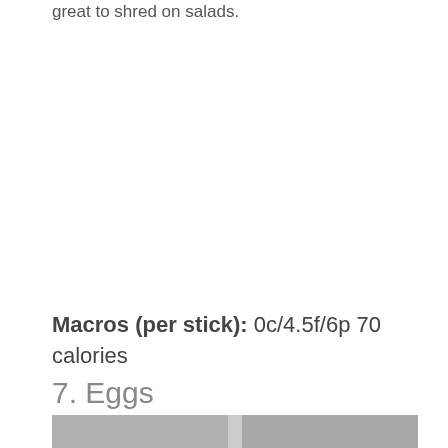great to shred on salads.
Macros (per stick): 0c/4.5f/6p 70 calories
7. Eggs
[Figure (photo): Photo of eggs, partially visible at bottom of page]